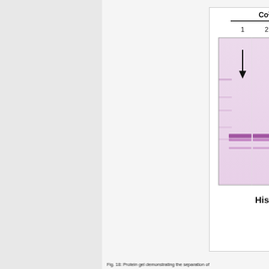[Figure (photo): Protein gel image showing His-tagged GFP (~28 kDa) separation using Co2+ (lanes 1-3) and Ni2+ (lanes 4-6) metal affinity chromatography. The gel shows a prominent band at approximately 28 kDa with an arrow pointing to a band in lane 1. Additional bands visible in lane 6 region. Pink/purple stained SDS-PAGE gel.]
Fig. 18: Protein gel demonstrating the separation of